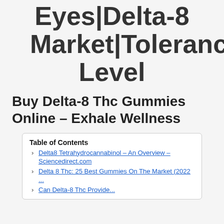Eyes|Delta-8 Market|Tolerance Level
Buy Delta-8 Thc Gummies Online – Exhale Wellness
Table of Contents
› Delta8 Tetrahydrocannabinol – An Overview – Sciencedirect.com
› Delta 8 Thc: 25 Best Gummies On The Market (2022 ...
› Can Delta-8 Thc Provide...